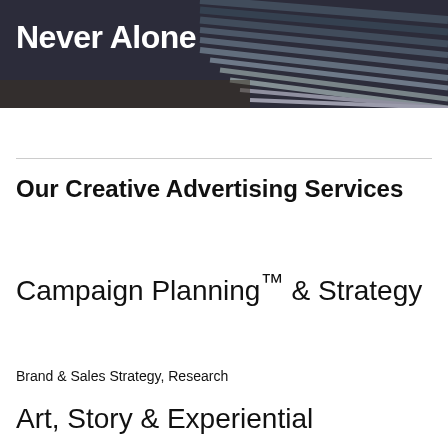[Figure (photo): Dark architectural/outdoor photo with diagonal stripe pattern on right side, showing text 'Never Alone' overlaid in white bold text at top left]
Our Creative Advertising Services
Campaign Planning™ & Strategy
Brand & Sales Strategy, Research
Art, Story & Experiential